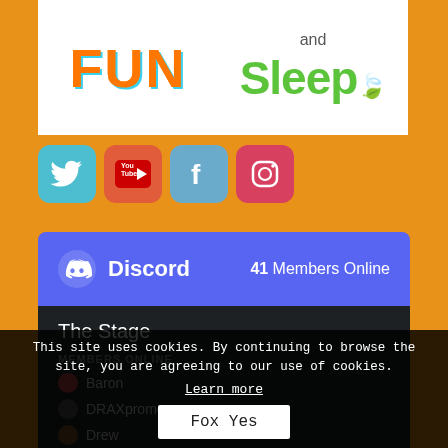[Figure (screenshot): Screenshot of a webpage showing a FUN logo, and Sleep logo with social media icons (Twitter, YouTube, Facebook, Instagram), a Discord widget showing 'The Stage' channel with 41 Members Online, member list including Baron, DRAXpromo, Drew, and a cookie consent overlay with 'Fox Yes' button and 'Learn more' link.]